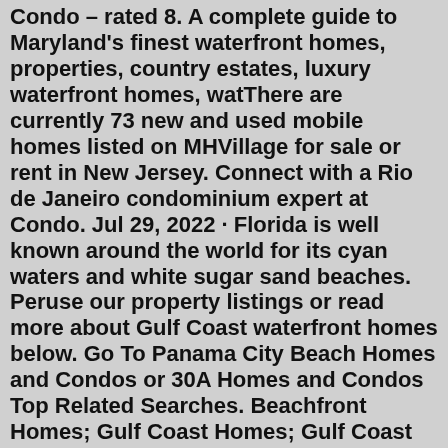Condo – rated 8. A complete guide to Maryland's finest waterfront homes, properties, country estates, luxury waterfront homes, watThere are currently 73 new and used mobile homes listed on MHVillage for sale or rent in New Jersey. Connect with a Rio de Janeiro condominium expert at Condo. Jul 29, 2022 · Florida is well known around the world for its cyan waters and white sugar sand beaches. Peruse our property listings or read more about Gulf Coast waterfront homes below. Go To Panama City Beach Homes and Condos or 30A Homes and Condos Top Related Searches. Beachfront Homes; Gulf Coast Homes; Gulf Coast Beach Cottages Jul 29, 2022 · 247 Lake Thomas Dr, Winter Haven, FL. Price: $289,999. Spacious in the South: It's hard to imagine a three-bedroom, 1,670-square-foot home complete with an office and a studio for under $300,000 ... Browse waterfront homes currently on the market in Florida matching Waterfront. View pictures, check Zestimates, and get scheduled for a tour of Waterfront listings. Lakehouse.com is a nationwide